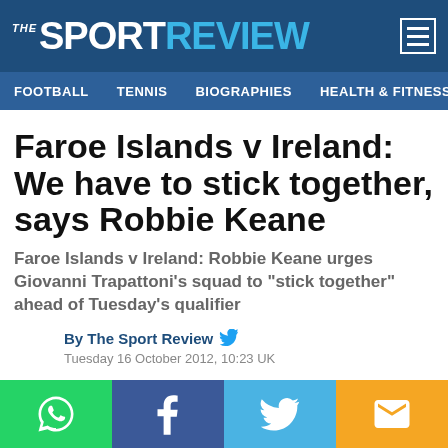THE SPORT REVIEW
FOOTBALL  TENNIS  BIOGRAPHIES  HEALTH & FITNESS  ALL
Faroe Islands v Ireland: We have to stick together, says Robbie Keane
Faroe Islands v Ireland: Robbie Keane urges Giovanni Trapattoni's squad to "stick together" ahead of Tuesday's qualifier
By The Sport Review
Tuesday 16 October 2012, 10:23 UK